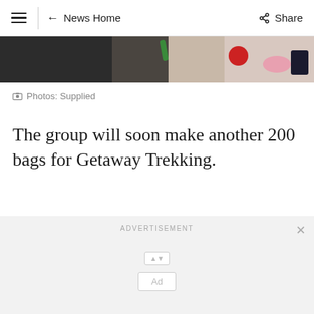≡  ← News Home    Share
[Figure (photo): Partial view of a photo showing crafts/bags with colorful items on a surface]
Photos: Supplied
The group will soon make another 200 bags for Getaway Trekking.
ADVERTISEMENT